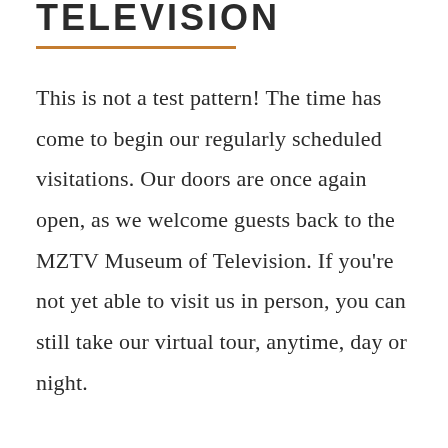TELEVISION
This is not a test pattern! The time has come to begin our regularly scheduled visitations. Our doors are once again open, as we welcome guests back to the MZTV Museum of Television. If you're not yet able to visit us in person, you can still take our virtual tour, anytime, day or night.